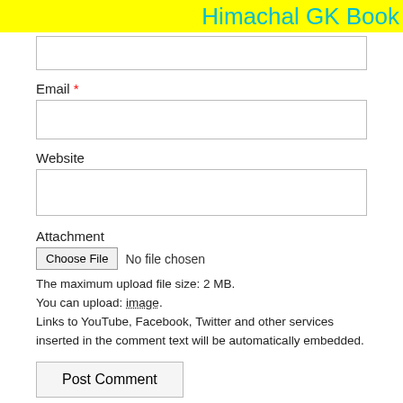Himachal GK Book
(input box — top, partial)
Email *
(email input box)
Website
(website input box)
Attachment
Choose File   No file chosen
The maximum upload file size: 2 MB.
You can upload: image.
Links to YouTube, Facebook, Twitter and other services inserted in the comment text will be automatically embedded.
Post Comment